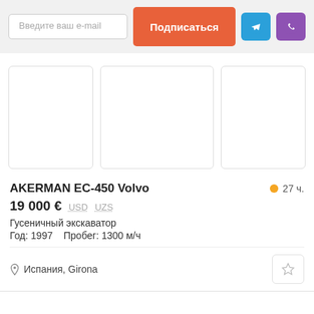Введите ваш e-mail | Подписаться | Telegram | Viber
[Figure (photo): Three blank white image placeholders in a row with light gray borders]
AKERMAN EC-450 Volvo
27 ч.
19 000 €  USD  UZS
Гусеничный экскаватор
Год: 1997   Пробег: 1300 м/ч
Испания, Girona